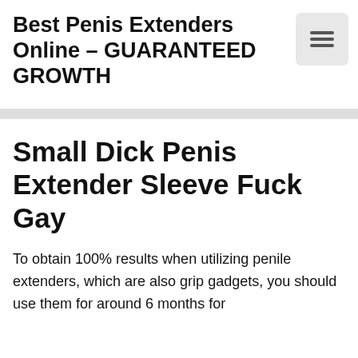Best Penis Extenders Online – GUARANTEED GROWTH
[Figure (other): Hamburger menu button icon (three horizontal lines) in a rounded rectangle]
Small Dick Penis Extender Sleeve Fuck Gay
To obtain 100% results when utilizing penile extenders, which are also grip gadgets, you should use them for around 6 months for